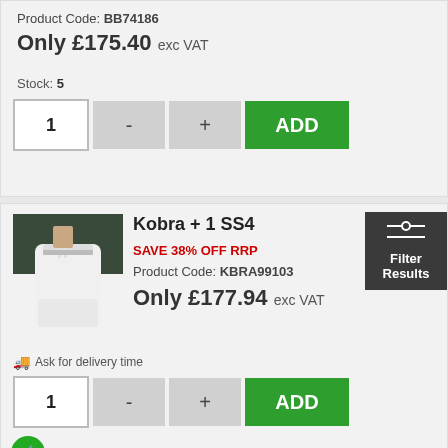Product Code: BB74186
Only £175.40 exc VAT
Stock: 5
[Figure (photo): Kobra + 1 SS4 paper shredder product photo, white cylindrical unit with hand inserting paper]
Kobra + 1 SS4
SAVE 38% OFF RRP
Product Code: KBRA99103
Only £177.94 exc VAT
Ask for delivery time